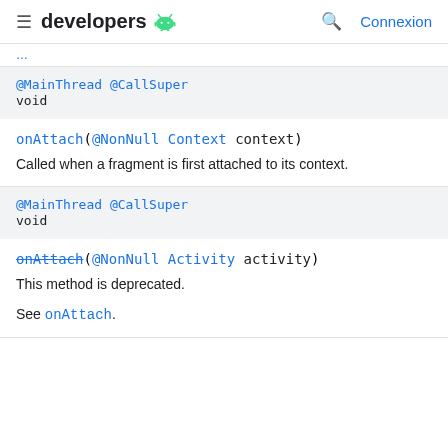developers [android logo] [search] Connexion
[breadcrumb navigation link - partially visible]
@MainThread @CallSuper
void
onAttach(@NonNull Context context)
Called when a fragment is first attached to its context.
@MainThread @CallSuper
void
onAttach(@NonNull Activity activity)
This method is deprecated.
See onAttach.